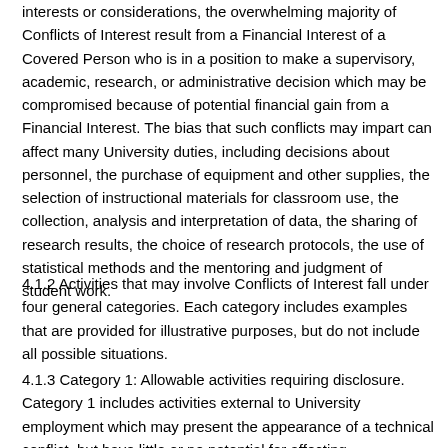interests or considerations, the overwhelming majority of Conflicts of Interest result from a Financial Interest of a Covered Person who is in a position to make a supervisory, academic, research, or administrative decision which may be compromised because of potential financial gain from a Financial Interest. The bias that such conflicts may impart can affect many University duties, including decisions about personnel, the purchase of equipment and other supplies, the selection of instructional materials for classroom use, the collection, analysis and interpretation of data, the sharing of research results, the choice of research protocols, the use of statistical methods and the mentoring and judgment of student work.
4.1.2 Activities that may involve Conflicts of Interest fall under four general categories. Each category includes examples that are provided for illustrative purposes, but do not include all possible situations.
4.1.3 Category 1: Allowable activities requiring disclosure. Category 1 includes activities external to University employment which may present the appearance of a technical conflict, but have little or no potential for affecting